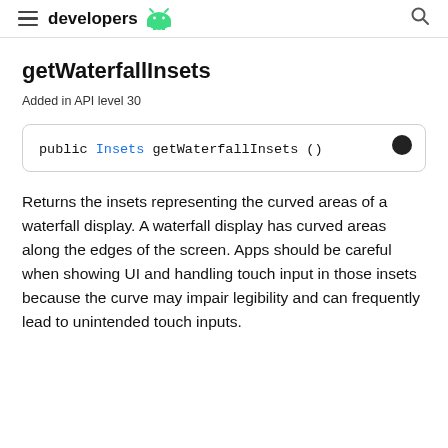developers
getWaterfallInsets
Added in API level 30
public Insets getWaterfallInsets ()
Returns the insets representing the curved areas of a waterfall display. A waterfall display has curved areas along the edges of the screen. Apps should be careful when showing UI and handling touch input in those insets because the curve may impair legibility and can frequently lead to unintended touch inputs.